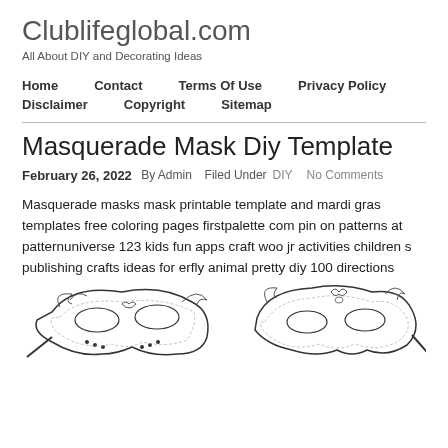Clublifeglobal.com
All About DIY and Decorating Ideas
Home   Contact   Terms Of Use   Privacy Policy
Disclaimer   Copyright   Sitemap
Masquerade Mask Diy Template
February 26, 2022  By Admin  Filed Under DIY  No Comments
Masquerade masks mask printable template and mardi gras templates free coloring pages firstpalette com pin on patterns at patternuniverse 123 kids fun apps craft woo jr activities children s publishing crafts ideas for erfly animal pretty diy 100 directions
[Figure (illustration): Two masquerade mask outlines/coloring page illustrations side by side]